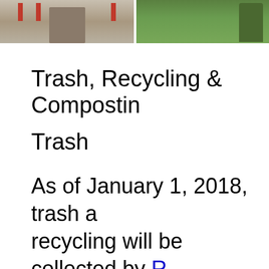[Figure (photo): Two outdoor photos side by side: left shows a walkway with American flags, right shows a green lawn with a tree]
Trash, Recycling & Compostin...
Trash
As of January 1, 2018, trash a... recycling will be collected by R... Services. This municipal contr... continue through December 3...
MONDAY is the collection day...